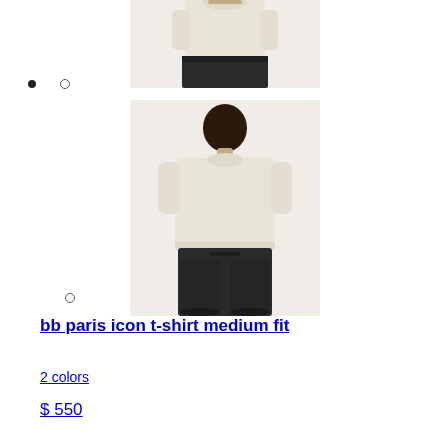[Figure (photo): Top-cropped view of a male model wearing a cream/off-white t-shirt and dark pants, photographed from the front, cropped at the torso]
[Figure (photo): Back view of a male model wearing a cream/off-white oversized t-shirt and dark drawstring pants, full upper-body and head visible]
bb paris icon t-shirt medium fit
2 colors
$ 550